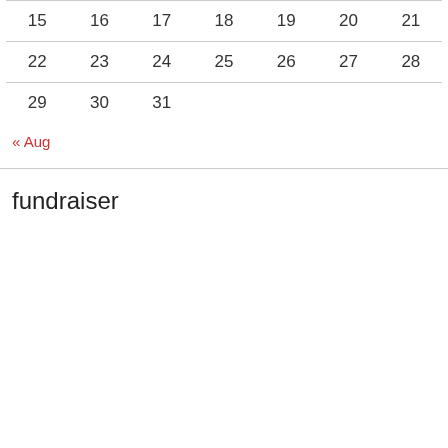| Sun | Mon | Tue | Wed | Thu | Fri | Sat |
| --- | --- | --- | --- | --- | --- | --- |
| 15 | 16 | 17 | 18 | 19 | 20 | 21 |
| 22 | 23 | 24 | 25 | 26 | 27 | 28 |
| 29 | 30 | 31 |  |  |  |  |
« Aug
fundraiser